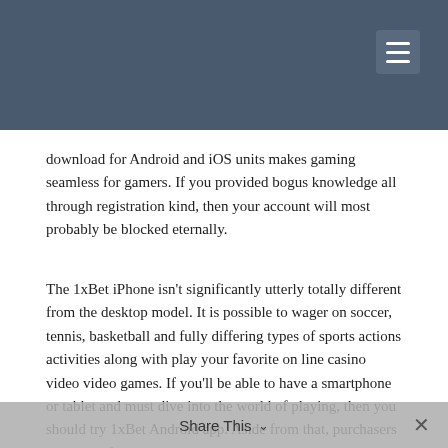download for Android and iOS units makes gaming seamless for gamers. If you provided bogus knowledge all through registration kind, then your account will most probably be blocked eternally.
The 1xBet iPhone isn't significantly utterly totally different from the desktop model. It is possible to wager on soccer, tennis, basketball and fully differing types of sports actions activities along with play your favorite on line casino video video games. If you'll be able to have a smartphone or tablet and must dive into the world of playing, then you should try 1xBet Android app. Aside from that, purchasers pays cash for categorical bets on the participant's career and/or the sporting occasions course. Users have the prospect to wager on native weather politics, diversified awards
Share This